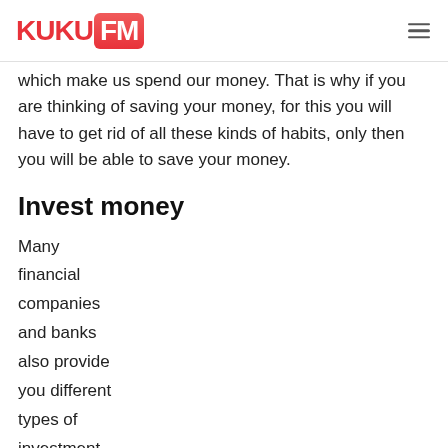KUKU FM
which make us spend our money. That is why if you are thinking of saving your money, for this you will have to get rid of all these kinds of habits, only then you will be able to save your money.
Invest money
Many financial companies and banks also provide you different types of investment